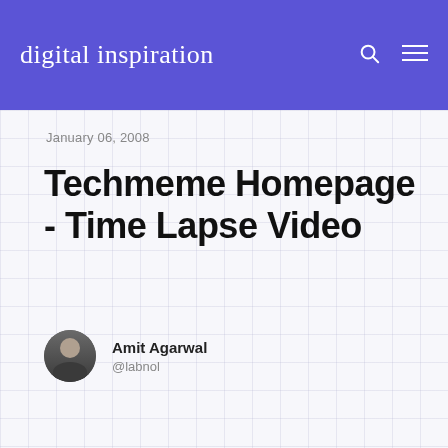digital inspiration
January 06, 2008
Techmeme Homepage - Time Lapse Video
Amit Agarwal
@labnol